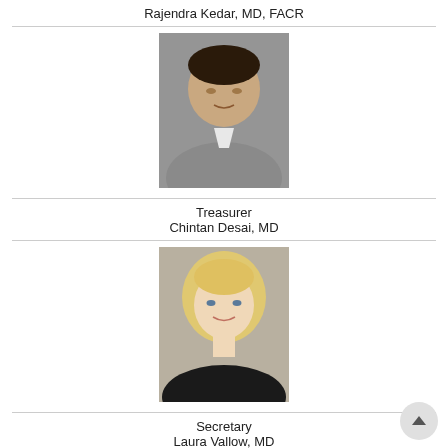Rajendra Kedar, MD, FACR
[Figure (photo): Professional headshot of Rajendra Kedar, MD, FACR — a man in a grey suit jacket with white shirt, photographed against a grey background]
Treasurer
Chintan Desai, MD
[Figure (photo): Professional headshot of Laura Vallow, MD — a woman with long blonde hair wearing a dark blazer, photographed against a light background]
Secretary
Laura Vallow, MD